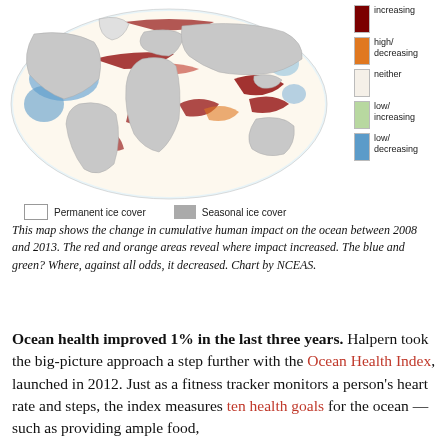[Figure (map): World map showing change in cumulative human impact on the ocean between 2008 and 2013. Red/orange areas show increased impact; blue areas show decreased impact. Includes color legend on right (high/increasing=dark red, high/decreasing=orange, neither=white, low/increasing=light green, low/decreasing=blue) and ice cover legend at bottom.]
This map shows the change in cumulative human impact on the ocean between 2008 and 2013. The red and orange areas reveal where impact increased. The blue and green? Where, against all odds, it decreased. Chart by NCEAS.
Ocean health improved 1% in the last three years. Halpern took the big-picture approach a step further with the Ocean Health Index, launched in 2012. Just as a fitness tracker monitors a person's heart rate and steps, the index measures ten health goals for the ocean — such as providing ample food,